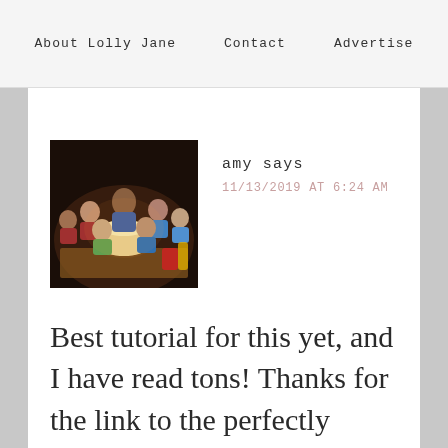About Lolly Jane   Contact   Advertise
[Figure (photo): A group of children around a birthday cake in a dark room setting, vintage warm-toned photo]
amy says
11/13/2019 AT 6:24 AM
Best tutorial for this yet, and I have read tons! Thanks for the link to the perfectly priced letters too!! I cannot